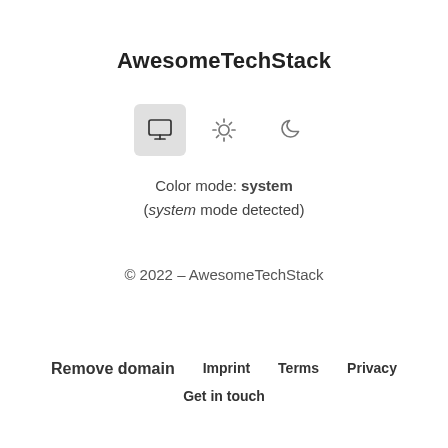AwesomeTechStack
[Figure (infographic): Three theme-selector icons: a monitor (system, active/highlighted), a sun (light), and a crescent moon (dark).]
Color mode: system
(system mode detected)
© 2022 – AwesomeTechStack
Remove domain   Imprint   Terms   Privacy
Get in touch